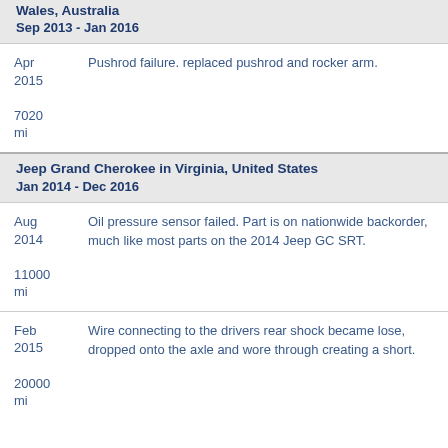Wales, Australia
Sep 2013 - Jan 2016
Apr 2015
7020 mi
Pushrod failure. replaced pushrod and rocker arm.
Jeep Grand Cherokee in Virginia, United States
Jan 2014 - Dec 2016
Aug 2014
11000 mi
Oil pressure sensor failed. Part is on nationwide backorder, much like most parts on the 2014 Jeep GC SRT.
Feb 2015
20000 mi
Wire connecting to the drivers rear shock became lose, dropped onto the axle and wore through creating a short.